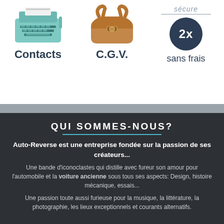[Figure (illustration): Top navigation bar with three icons: a teal typewriter labeled 'Contacts', a brown leather bag labeled 'C.G.V.', and a dark navy circle badge with '2x' and 'sans frais' label, with 'sécure' text and horizontal line above the badge.]
QUI SOMMES-NOUS?
Auto-Reverse est une entreprise fondée sur la passion de ses créateurs...
Une bande d'iconoclastes qui distille avec fureur son amour pour l'automobile et la voiture ancienne sous tous ses aspects: Design, histoire mécanique, essais...
Une passion toute aussi furieuse pour la musique, la littérature, la photographie, les lieux exceptionnels et courants alternatifs.